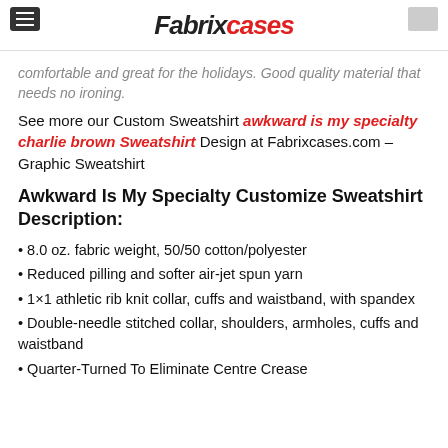FabrixCases
comfortable and great for the holidays. Good quality material that needs no ironing.
See more our Custom Sweatshirt awkward is my specialty charlie brown Sweatshirt Design at Fabrixcases.com – Graphic Sweatshirt
Awkward Is My Specialty Customize Sweatshirt Description:
• 8.0 oz. fabric weight, 50/50 cotton/polyester
• Reduced pilling and softer air-jet spun yarn
• 1×1 athletic rib knit collar, cuffs and waistband, with spandex
• Double-needle stitched collar, shoulders, armholes, cuffs and waistband
• Quarter-Turned To Eliminate Centre Crease